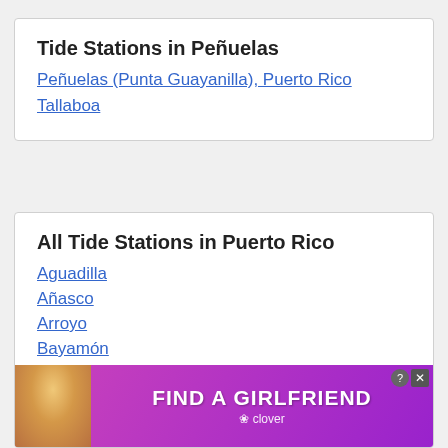Tide Stations in Peñuelas
Peñuelas (Punta Guayanilla), Puerto Rico
Tallaboa
All Tide Stations in Puerto Rico
Aguadilla
Añasco
Arroyo
Bayamón
Cabo Rojo
Ceiba
Culebra
Fajardo
[Figure (other): Advertisement banner: FIND A GIRLFRIEND – Clover app, with image of a woman]